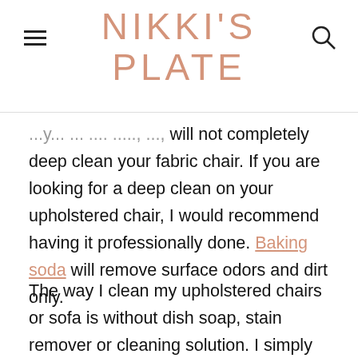NIKKI'S PLATE
will not completely deep clean your fabric chair. If you are looking for a deep clean on your upholstered chair, I would recommend having it professionally done. Baking soda will remove surface odors and dirt only.
The way I clean my upholstered chairs or sofa is without dish soap, stain remover or cleaning solution. I simply use my baking soda and vacuum .. occasionally with white vinegar.